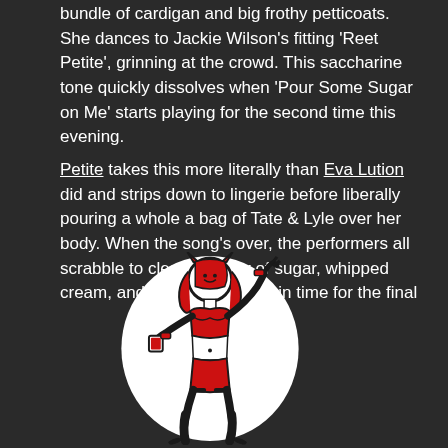bundle of cardigan and big frothy petticoats. She dances to Jackie Wilson's fitting 'Reet Petite', grinning at the crowd. This saccharine tone quickly dissolves when 'Pour Some Sugar on Me' starts playing for the second time this evening.
Petite takes this more literally than Eva Lution did and strips down to lingerie before liberally pouring a whole a bag of Tate & Lyle over her body. When the song's over, the performers all scrabble to clear the floor of sugar, whipped cream, and cupcake crumbs in time for the final
[Figure (illustration): Illustration of a woman in red lingerie with cat ears, dancing with one arm raised, drawn in a comic/sticker style with red and black colors on white background with thick black outline.]